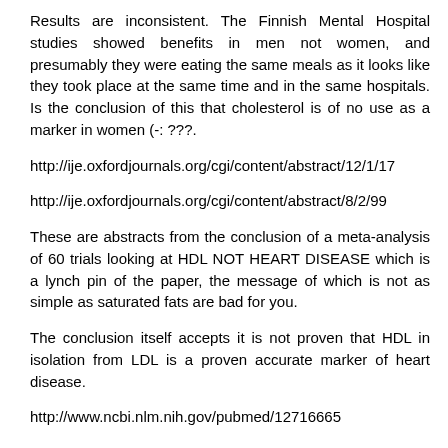Results are inconsistent. The Finnish Mental Hospital studies showed benefits in men not women, and presumably they were eating the same meals as it looks like they took place at the same time and in the same hospitals. Is the conclusion of this that cholesterol is of no use as a marker in women (-: ???.
http://ije.oxfordjournals.org/cgi/content/abstract/12/1/17
http://ije.oxfordjournals.org/cgi/content/abstract/8/2/99
These are abstracts from the conclusion of a meta-analysis of 60 trials looking at HDL NOT HEART DISEASE which is a lynch pin of the paper, the message of which is not as simple as saturated fats are bad for you.
The conclusion itself accepts it is not proven that HDL in isolation from LDL is a proven accurate marker of heart disease.
http://www.ncbi.nlm.nih.gov/pubmed/12716665